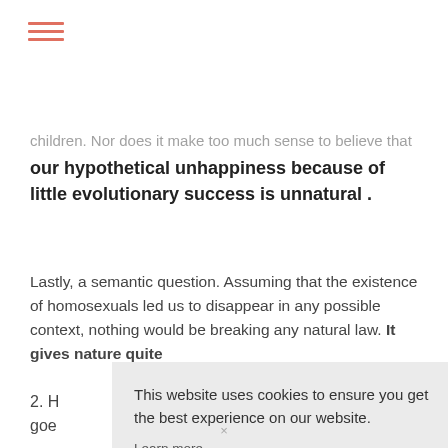[Figure (other): Hamburger menu icon with three horizontal salmon/coral colored lines]
children. Nor does it make too much sense to believe that our hypothetical unhappiness because of little evolutionary success is unnatural .
Lastly, a semantic question. Assuming that the existence of homosexuals led us to disappear in any possible context, nothing would be breaking any natural law. It gives nature quite
2. H
goe
This website uses cookies to ensure you get the best experience on our website.
Learn more